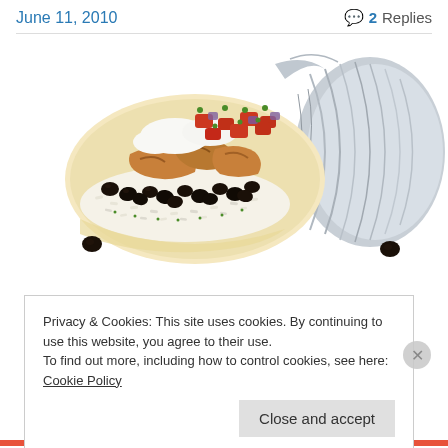June 11, 2010    2 Replies
[Figure (photo): A Chipotle-style burrito partially unwrapped from aluminum foil, showing chicken, black beans, rice, pico de gallo, and sour cream filling.]
Privacy & Cookies: This site uses cookies. By continuing to use this website, you agree to their use.
To find out more, including how to control cookies, see here: Cookie Policy
Close and accept